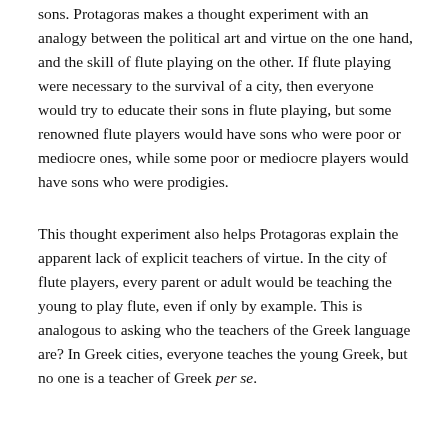sons. Protagoras makes a thought experiment with an analogy between the political art and virtue on the one hand, and the skill of flute playing on the other. If flute playing were necessary to the survival of a city, then everyone would try to educate their sons in flute playing, but some renowned flute players would have sons who were poor or mediocre ones, while some poor or mediocre players would have sons who were prodigies.
This thought experiment also helps Protagoras explain the apparent lack of explicit teachers of virtue. In the city of flute players, every parent or adult would be teaching the young to play flute, even if only by example. This is analogous to asking who the teachers of the Greek language are? In Greek cities, everyone teaches the young Greek, but no one is a teacher of Greek per se.